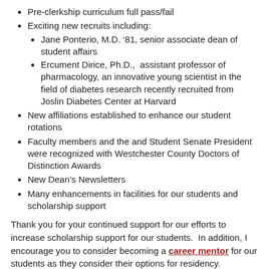Pre-clerkship curriculum full pass/fail
Exciting new recruits including:
Jane Ponterio, M.D. ‘81, senior associate dean of student affairs
Ercument Dirice, Ph.D.,  assistant professor of pharmacology, an innovative young scientist in the field of diabetes research recently recruited from Joslin Diabetes Center at Harvard
New affiliations established to enhance our student rotations
Faculty members and the and Student Senate President were recognized with Westchester County Doctors of Distinction Awards
New Dean’s Newsletters
Many enhancements in facilities for our students and scholarship support
Thank you for your continued support for our efforts to increase scholarship support for our students.  In addition, I encourage you to consider becoming a career mentor for our students as they consider their options for residency.
I look forward to personally meeting you and helping you